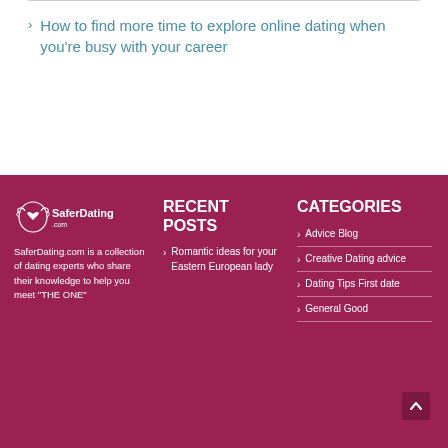How to find more time to explore online dating when you're busy with your career
[Figure (logo): SaferDating.com logo with white icon and text on dark red background]
SaferDating.com is a collection of dating experts who share their knowledge to help you meet "THE ONE"
RECENT POSTS
Romantic ideas for your Eastern European lady
CATEGORIES
Advice Blog
Creative Dating advice
Dating Tips First date
General Good